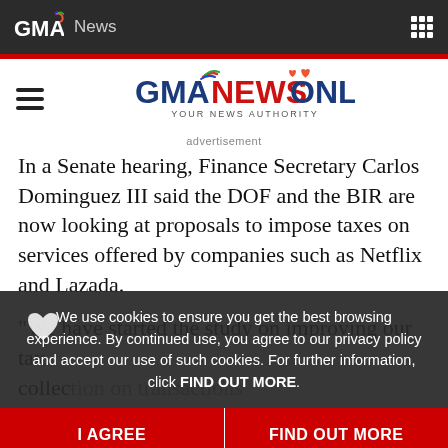GMA News
[Figure (logo): GMA News Online logo with tagline YOUR NEWS AUTHORITY]
advertisement
In a Senate hearing, Finance Secretary Carlos Dominguez III said the DOF and the BIR are now looking at proposals to impose taxes on services offered by companies such as Netflix and Lazada.
"We have started the study on improving our tax collection on transactions conducted through the internet," Dominguez told lawmake
We use cookies to ensure you get the best browsing experience. By continued use, you agree to our privacy policy and accept our use of such cookies. For further information, click FIND OUT MORE.
I AGREE
FIND OUT MORE